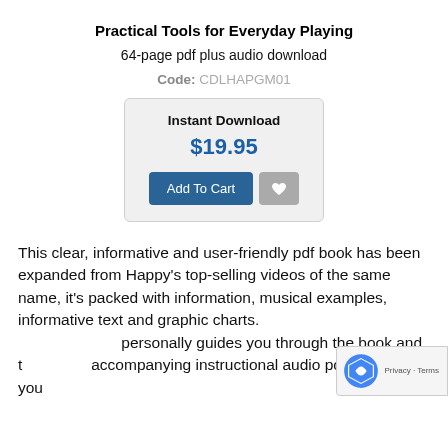Practical Tools for Everyday Playing
64-page pdf plus audio download
Code: CDLHAPGM01
Instant Download
$19.95
Add To Cart
This clear, informative and user-friendly pdf book has been expanded from Happy's top-selling videos of the same name, it's packed with information, musical examples, informative text and graphic charts. personally guides you through the book and the accompanying instructional audio portion to help you